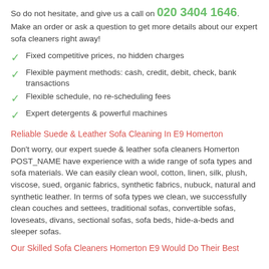So do not hesitate, and give us a call on 020 3404 1646. Make an order or ask a question to get more details about our expert sofa cleaners right away!
Fixed competitive prices, no hidden charges
Flexible payment methods: cash, credit, debit, check, bank transactions
Flexible schedule, no re-scheduling fees
Expert detergents & powerful machines
Reliable Suede & Leather Sofa Cleaning In E9 Homerton
Don't worry, our expert suede & leather sofa cleaners Homerton POST_NAME have experience with a wide range of sofa types and sofa materials. We can easily clean wool, cotton, linen, silk, plush, viscose, sued, organic fabrics, synthetic fabrics, nubuck, natural and synthetic leather. In terms of sofa types we clean, we successfully clean couches and settees, traditional sofas, convertible sofas, loveseats, divans, sectional sofas, sofa beds, hide-a-beds and sleeper sofas.
Our Skilled Sofa Cleaners Homerton E9 Would Do Their Best